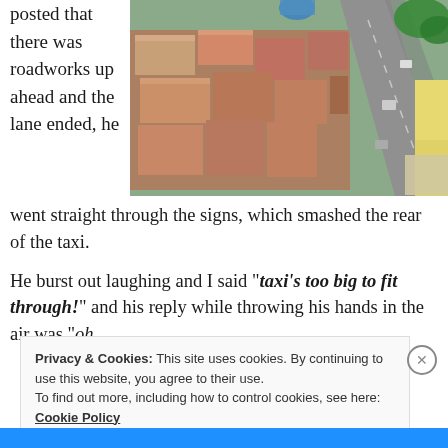posted that there was roadworks up ahead and the lane ended, he went straight through the signs, which smashed the rear of the taxi.
[Figure (photo): Aerial view of a dense urban street scene with buildings, corrugated metal rooftops, and a road with vehicles visible from above.]
He burst out laughing and I said “taxi’s too big to fit through!” and his reply while throwing his hands in the air was “oh
Privacy & Cookies: This site uses cookies. By continuing to use this website, you agree to their use.
To find out more, including how to control cookies, see here: Cookie Policy
Close and accept